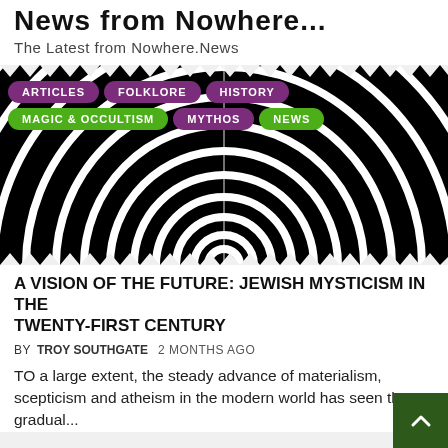News from Nowhere...
The Latest from Nowhere.News
[Figure (illustration): Black and white concentric circles hypnotic spiral image with navigation pills overlaid: ARTICLES, FOLKLORE, HISTORY, MAGIC & OCCULTISM (purple/green pills), MYTHOS, NEWS]
A VISION OF THE FUTURE: JEWISH MYSTICISM IN THE TWENTY-FIRST CENTURY
BY TROY SOUTHGATE   2 MONTHS AGO
TO a large extent, the steady advance of materialism, scepticism and atheism in the modern world has seen the gradual...